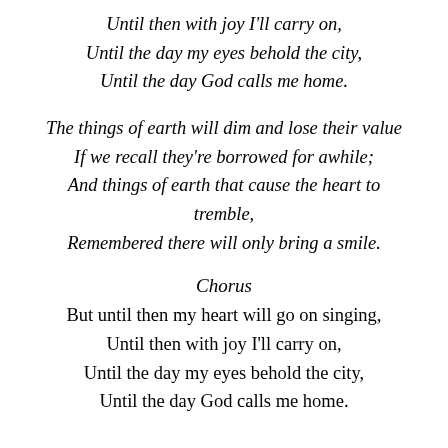Until then with joy I'll carry on,
Until the day my eyes behold the city,
Until the day God calls me home.
The things of earth will dim and lose their value
If we recall they're borrowed for awhile;
And things of earth that cause the heart to tremble,
Remembered there will only bring a smile.
Chorus
But until then my heart will go on singing,
Until then with joy I'll carry on,
Until the day my eyes behold the city,
Until the day God calls me home.